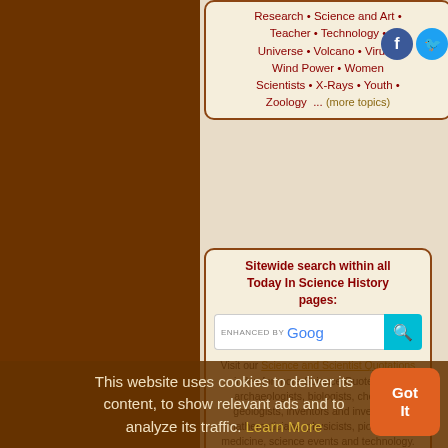Research • Science and Art • Teacher • Technology • Universe • Volcano • Virus • Wind Power • Women Scientists • X-Rays • Youth • Zoology ... (more topics)
Sitewide search within all Today In Science History pages:
[Figure (screenshot): Search bar with 'enhanced by Google' text and cyan search button with magnifying glass icon]
Visit our Science and Scientist Quotations index for more Science Quotes from archaeologists, biologists, chemists, geologists, inventors and inventions, mathematicians, physicists, pioneers in medicine, science events and technology.
Names index: | A | B | C | D | E | F | G | H | I | J | K | L | M | N | O | P | Q | R | S | T | U | V | W | X | Y | Z |
Categories index: | 1 | 2 | A | B | C | D | ... | N | O | P | Q | R | S | T | U | V | W | X | Y | Z |
This website uses cookies to deliver its content, to show relevant ads and to analyze its traffic. Learn More